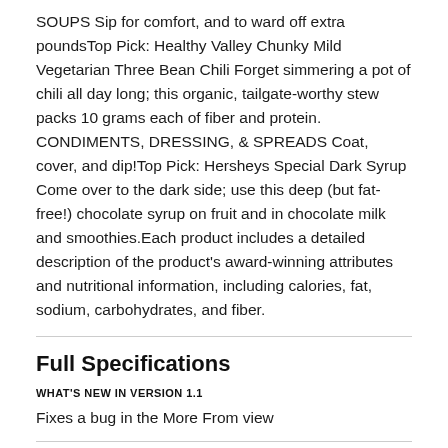SOUPS Sip for comfort, and to ward off extra poundsTop Pick: Healthy Valley Chunky Mild Vegetarian Three Bean Chili Forget simmering a pot of chili all day long; this organic, tailgate-worthy stew packs 10 grams each of fiber and protein. CONDIMENTS, DRESSING, & SPREADS Coat, cover, and dip!Top Pick: Hersheys Special Dark Syrup Come over to the dark side; use this deep (but fat-free!) chocolate syrup on fruit and in chocolate milk and smoothies.Each product includes a detailed description of the product's award-winning attributes and nutritional information, including calories, fat, sodium, carbohydrates, and fiber.
Full Specifications
WHAT'S NEW IN VERSION 1.1
Fixes a bug in the More From view